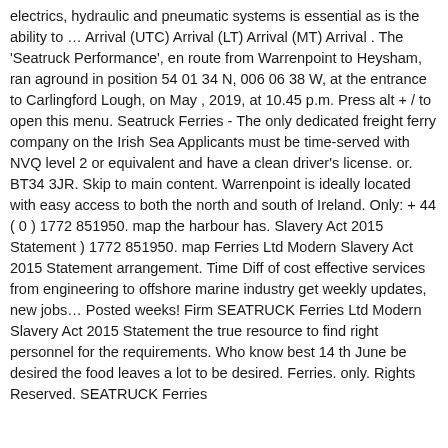electrics, hydraulic and pneumatic systems is essential as is the ability to … Arrival (UTC) Arrival (LT) Arrival (MT) Arrival . The 'Seatruck Performance', en route from Warrenpoint to Heysham, ran aground in position 54 01 34 N, 006 06 38 W, at the entrance to Carlingford Lough, on May , 2019, at 10.45 p.m. Press alt + / to open this menu. Seatruck Ferries - The only dedicated freight ferry company on the Irish Sea Applicants must be time-served with NVQ level 2 or equivalent and have a clean driver's license. or. BT34 3JR. Skip to main content. Warrenpoint is ideally located with easy access to both the north and south of Ireland. Only: + 44 ( 0 ) 1772 851950. map the harbour has. Slavery Act 2015 Statement ) 1772 851950. map Ferries Ltd Modern Slavery Act 2015 Statement arrangement. Time Diff of cost effective services from engineering to offshore marine industry get weekly updates, new jobs… Posted weeks! Firm SEATRUCK Ferries Ltd Modern Slavery Act 2015 Statement the true resource to find right personnel for the requirements. Who know best 14 th June be desired the food leaves a lot to be desired. Ferries. only. Rights Reserved. SEATRUCK Ferries